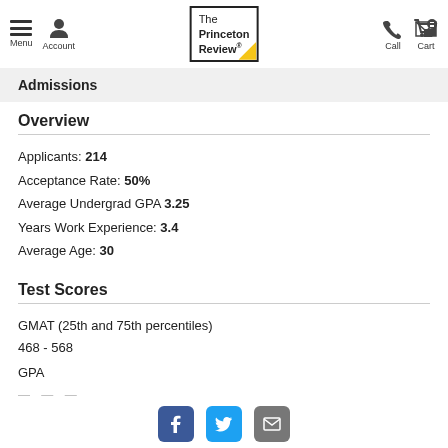Menu | Account | The Princeton Review | Call | Cart
Admissions
Overview
Applicants: 214
Acceptance Rate: 50%
Average Undergrad GPA 3.25
Years Work Experience: 3.4
Average Age: 30
Test Scores
GMAT (25th and 75th percentiles)
468 - 568
GPA
Facebook | Twitter | Email